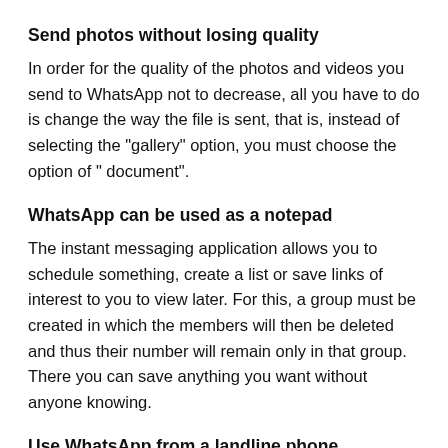Send photos without losing quality
In order for the quality of the photos and videos you send to WhatsApp not to decrease, all you have to do is change the way the file is sent, that is, instead of selecting the "gallery" option, you must choose the option of " document".
WhatsApp can be used as a notepad
The instant messaging application allows you to schedule something, create a list or save links of interest to you to view later. For this, a group must be created in which the members will then be deleted and thus their number will remain only in that group. There you can save anything you want without anyone knowing.
Use WhatsApp from a landline phone
Almost all smartphones in the world have the application downloaded and there is also WhatsApp web for computers, but